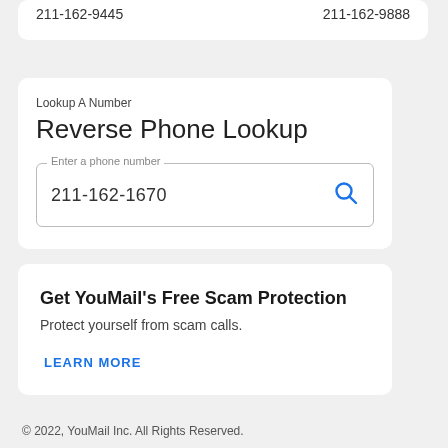211-162-9445   211-162-9888
Lookup A Number
Reverse Phone Lookup
211-162-1670
Get YouMail's Free Scam Protection
Protect yourself from scam calls.
LEARN MORE
© 2022, YouMail Inc. All Rights Reserved.